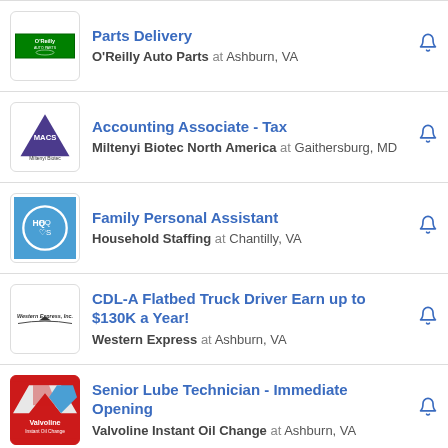Parts Delivery — O'Reilly Auto Parts at Ashburn, VA
Accounting Associate - Tax — Miltenyi Biotec North America at Gaithersburg, MD
Family Personal Assistant — Household Staffing at Chantilly, VA
CDL-A Flatbed Truck Driver Earn up to $130K a Year! — Western Express at Ashburn, VA
Senior Lube Technician - Immediate Opening — Valvoline Instant Oil Change at Ashburn, VA
Research Data Scientist — Metron, Inc. at Reston, VA